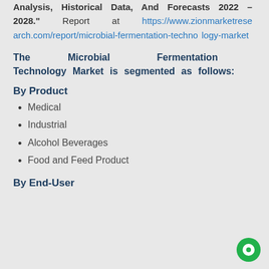Analysis, Historical Data, And Forecasts 2022 – 2028." Report at https://www.zionmarketresearch.com/report/microbial-fermentation-technology-market
The Microbial Fermentation Technology Market is segmented as follows:
By Product
Medical
Industrial
Alcohol Beverages
Food and Feed Product
By End-User